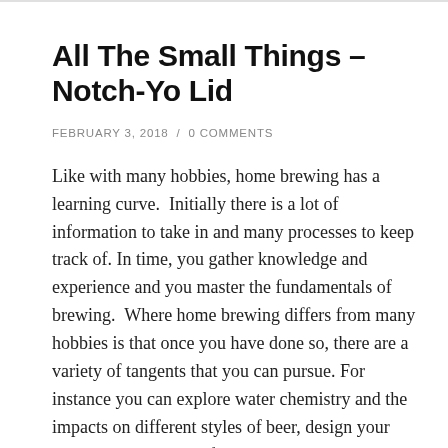All The Small Things – Notch-Yo Lid
FEBRUARY 3, 2018 / 0 COMMENTS
Like with many hobbies, home brewing has a learning curve.  Initially there is a lot of information to take in and many processes to keep track of. In time, you gather knowledge and experience and you master the fundamentals of brewing.  Where home brewing differs from many hobbies is that once you have done so, there are a variety of tangents that you can pursue. For instance you can explore water chemistry and the impacts on different styles of beer, design your own beer recipes and figure out which hops best compliment a specific yeast strain, try different mashing techniques and focus on boosting your brew house efficiency or even build and customize your own brewing hardware.